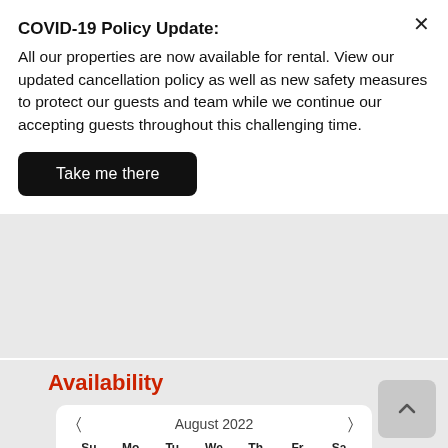COVID-19 Policy Update: All our properties are now available for rental. View our updated cancellation policy as well as new safety measures to protect our guests and team while we continue our accepting guests throughout this challenging time.
Take me there
Availability
| Su | Mo | Tu | We | Th | Fr | Sa |
| --- | --- | --- | --- | --- | --- | --- |
|  | 1 | 2 | 3 | 4 | 5 | 6 |
| 7 | 8 | 9 | 10 | 11 | 12 | 13 |